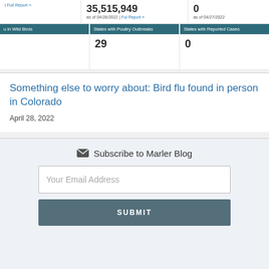35,515,949 as of 04/28/2022 | Full Report »
0 as of 04/27/2022
u in Wild Birds
States with Poultry Outbreaks
States with Reported Cases
29
0
Something else to worry about: Bird flu found in person in Colorado
April 28, 2022
Subscribe to Marler Blog
Your Email Address
SUBMIT